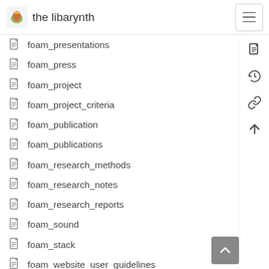the libarynth
foam_presentations
foam_press
foam_project
foam_project_criteria
foam_publication
foam_publications
foam_research_methods
foam_research_notes
foam_research_reports
foam_sound
foam_stack
foam_website_user_guidelines
foam_workshops
folksonomy
folk_art
font_conversion
foodpairing_notes
food_data
food_...